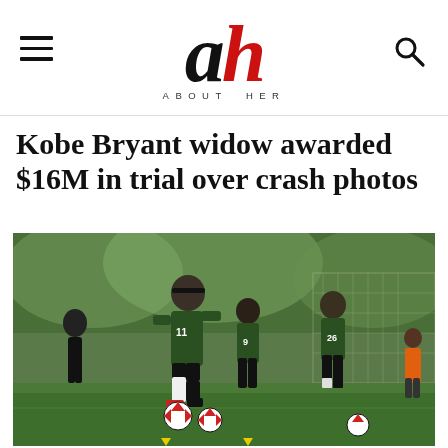About Her (logo)
Kobe Bryant widow awarded $16M in trial over crash photos
[Figure (photo): Women soccer players in green jerseys numbered 11, 9, and 26 practicing on a green field with red and white soccer balls. Player #11 in the foreground appears to be kicking a ball.]